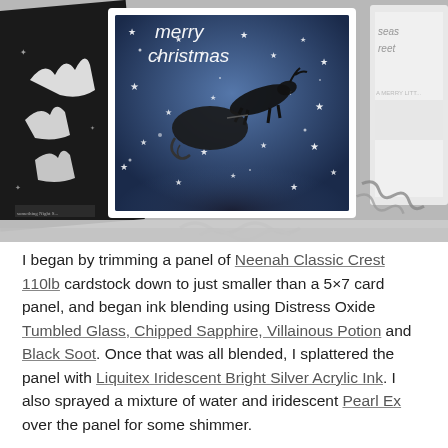[Figure (photo): Photo of Christmas cards and craft supplies. Center card features a blue starry night background with Santa's sleigh silhouette and 'merry christmas' text. Left shows a black card with white die-cut reindeer. Right partially shows another card. Metal die-cut embellishments are visible in foreground.]
I began by trimming a panel of Neenah Classic Crest 110lb cardstock down to just smaller than a 5×7 card panel, and began ink blending using Distress Oxide Tumbled Glass, Chipped Sapphire, Villainous Potion and Black Soot. Once that was all blended, I splattered the panel with Liquitex Iridescent Bright Silver Acrylic Ink. I also sprayed a mixture of water and iridescent Pearl Ex over the panel for some shimmer.